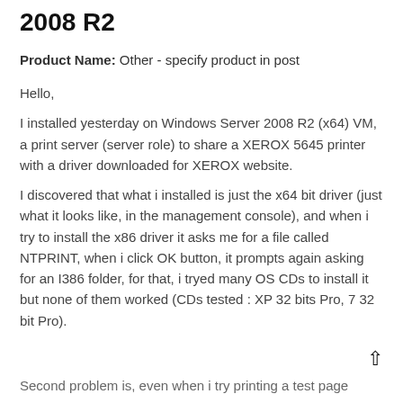2008 R2
Product Name: Other - specify product in post
Hello,
I installed yesterday on Windows Server 2008 R2 (x64) VM, a print server (server role) to share a XEROX 5645 printer with a driver downloaded for XEROX website.
I discovered that what i installed is just the x64 bit driver (just what it looks like, in the management console), and when i try to install the x86 driver it asks me for a file called NTPRINT, when i click OK button, it prompts again asking for an I386 folder, for that, i tryed many OS CDs to install it but none of them worked (CDs tested : XP 32 bits Pro, 7 32 bit Pro).
Second problem is, even when i try printing a test page